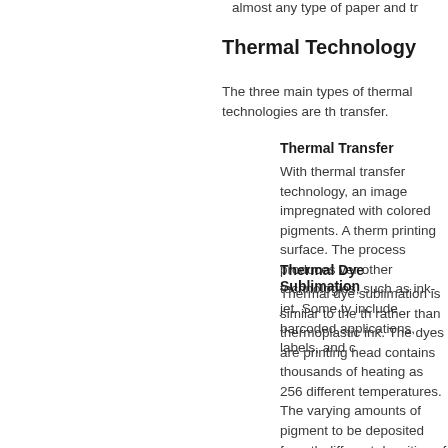almost any type of paper and tr
Thermal Technology
The three main types of thermal technologies are th transfer.
Thermal Transfer
With thermal transfer technology, an image impregnated with colored pigments. A therm printing surface. The process produces ver other technologies, such as ink-jet. Some ty include barcoded applications, labels, and c
Thermal Dye Sublimation
Thermal dye sublimation is similar to the th rather than thermoplastic ink. The dyes are printing head contains thousands of heating as 256 different temperatures. The varying amounts of pigment to be deposited from th different densities of color that are created i through a process called "sublimation", in w the form of a gas, makes contact with a spe individual spots of dye created with the ther almost continuous tone image similar to an
Thermal Wax Transfer
Like the dye sublimation process, many hea control the amount of pigment that reaches used. The heating elements melt the wax-b necessary with many wax thermal transfer p multiple times in order to print an image in f colors, cyan, magenta, yellow, and black. E produce a very intense color image and the Patterns in the absence of a st